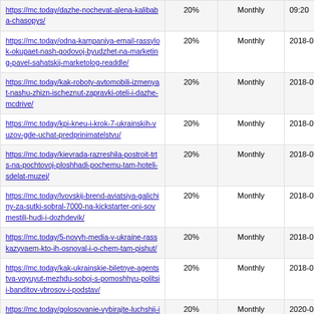| https://mc.today/dazhe-nochevat-alena-kalibaba-chasopys/ | 20% | Monthly | 09:20 |
| https://mc.today/odna-kampaniya-email-rassylok-okupaet-nash-godovoj-byudzhet-na-marketing-pavel-sahatskij-marketolog-readdle/ | 20% | Monthly | 2018-07-05 09:20 |
| https://mc.today/kak-roboty-avtomobili-izmenyat-nashu-zhizn-ischeznut-zapravki-oteli-i-dazhe-mcdrive/ | 20% | Monthly | 2018-09-14 18:42 |
| https://mc.today/kpi-kneu-i-krok-7-ukrainskih-vuzov-gde-uchat-predprinimatelstvu/ | 20% | Monthly | 2018-07-05 09:28 |
| https://mc.today/kievrada-razreshila-postroit-trts-na-pochtovoj-ploshhadi-pochemu-tam-hoteli-sdelat-muzej/ | 20% | Monthly | 2018-07-05 09:29 |
| https://mc.today/lvovskij-brend-aviatsiya-galichiny-za-sutki-sobral-7000-na-kickstarter-oni-sovmestili-hudi-i-dozhdevik/ | 20% | Monthly | 2018-07-05 09:29 |
| https://mc.today/5-novyh-media-v-ukraine-rasskazyvaem-kto-ih-osnoval-i-o-chem-tam-pishut/ | 20% | Monthly | 2018-07-05 09:29 |
| https://mc.today/kak-ukrainskie-biletnye-agentstva-voyuyut-mezhdu-soboj-s-pomoshhyu-politsii-banditov-vbrosov-i-podstav/ | 20% | Monthly | 2018-07-05 09:30 |
| https://mc.today/golosovanie-vybirajte-luchshij-i-hudshij-onlajn-servisy-v-ukraine/ | 20% | Monthly | 2020-05-04 10:37 |